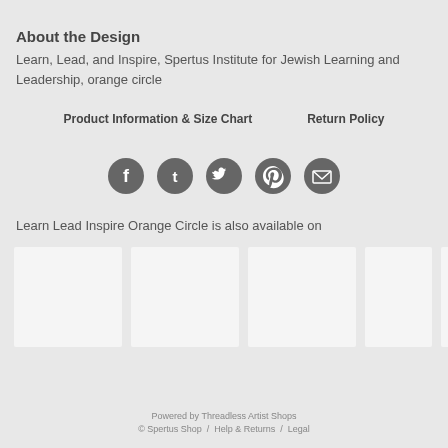About the Design
Learn, Lead, and Inspire, Spertus Institute for Jewish Learning and Leadership, orange circle
Product Information & Size Chart    Return Policy
[Figure (infographic): Five circular social media share buttons (Facebook, Tumblr, Twitter, Pinterest, Email) in dark gray]
Learn Lead Inspire Orange Circle is also available on
[Figure (photo): Row of product thumbnail images (white/light gray boxes representing product previews)]
Powered by Threadless Artist Shops
© Spertus Shop  /  Help & Returns  /  Legal